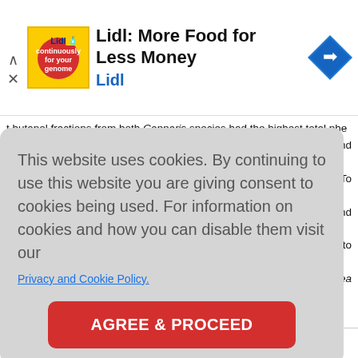[Figure (advertisement): Lidl advertisement banner with logo, title 'Lidl: More Food for Less Money', subtitle 'Lidl', and navigation icon. Collapse/close controls on the left.]
t butanol fractions from both Capparis species had the highest total phenolic content, and in most cases demonstrated the highest antioxidant and radical scavenging activity. In vitro, it was preferably assessed for antioxidant activity assay in vivo. To meet this goal, two key antioxidant enzymes (SOD, GPX) were assessed. It was found that activities were increased significantly in the butanol extract treated groups compared to the control. This provides robust evidence that the butanol extract of both C. cartilaginea and C. [cut off] source of natural antioxidants.
[overlay obscured] oxidant and nolic extracts. reported was 91.8 ± t capacities 66.55 ± 0.9 ant parts us
[Figure (infographic): Cookie consent overlay dialog with text: 'This website uses cookies. By continuing to use this website you are giving consent to cookies being used. For information on cookies and how you can disable them visit our Privacy and Cookie Policy.' and a red AGREE & PROCEED button.]
Capparis cartilaginea and Capparis ovata: [cut off]